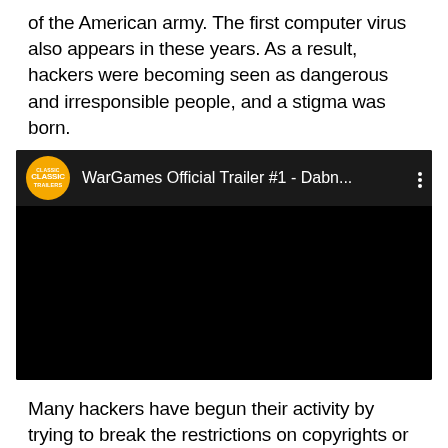of the American army. The first computer virus also appears in these years. As a result, hackers were becoming seen as dangerous and irresponsible people, and a stigma was born.
[Figure (screenshot): Embedded YouTube video thumbnail showing 'WarGames Official Trailer #1 - Dabn...' with a Classic Trailers channel icon (gold circle) on a dark/black background.]
Many hackers have begun their activity by trying to break the restrictions on copyrights or by diverting the rules of computer games before the generalization of